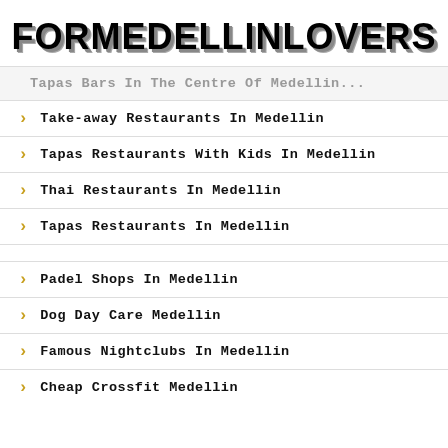FORMEDELLINLOVERS
Tapas Bars In The Centre Of Medellin
Take-away Restaurants In Medellin
Tapas Restaurants With Kids In Medellin
Thai Restaurants In Medellin
Tapas Restaurants In Medellin
Padel Shops In Medellin
Dog Day Care Medellin
Famous Nightclubs In Medellin
Cheap Crossfit Medellin